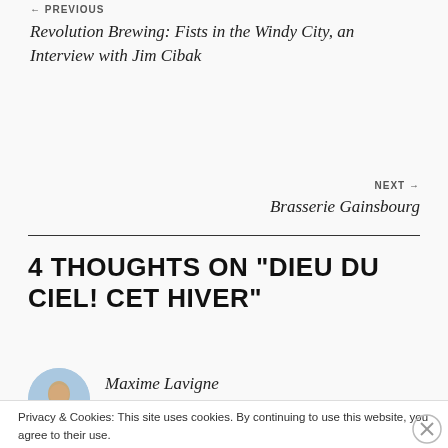← PREVIOUS
Revolution Brewing: Fists in the Windy City, an Interview with Jim Cibak
NEXT →
Brasserie Gainsbourg
4 THOUGHTS ON "DIEU DU CIEL! CET HIVER"
Maxime Lavigne
Privacy & Cookies: This site uses cookies. By continuing to use this website, you agree to their use.
To find out more, including how to control cookies, see here: Cookie Policy
Close and accept